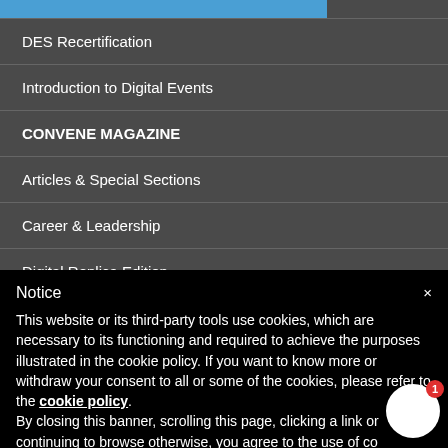DES Recertification
Introduction to Digital Events
CONVENE MAGAZINE
Articles & Special Sections
Career & Leadership
Digital Replica Edition
Notice
This website or its third-party tools use cookies, which are necessary to its functioning and required to achieve the purposes illustrated in the cookie policy. If you want to know more or withdraw your consent to all or some of the cookies, please refer to the cookie policy.
By closing this banner, scrolling this page, clicking a link or continuing to browse otherwise, you agree to the use of co